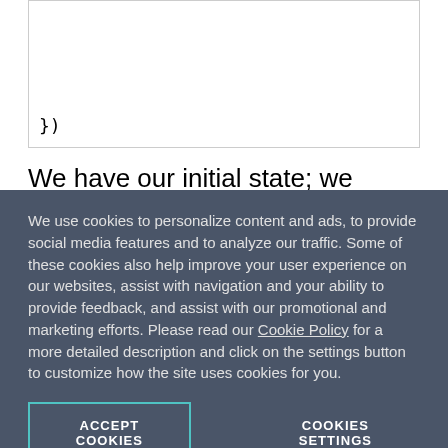})
We have our initial state; we created the action that will be dispatched to change the state; now we'll create our reducer and understand how the immutability concept is used in Redux and why it's so important to
We use cookies to personalize content and ads, to provide social media features and to analyze our traffic. Some of these cookies also help improve your user experience on our websites, assist with navigation and your ability to provide feedback, and assist with our promotional and marketing efforts. Please read our Cookie Policy for a more detailed description and click on the settings button to customize how the site uses cookies for you.
ACCEPT COOKIES
COOKIES SETTINGS